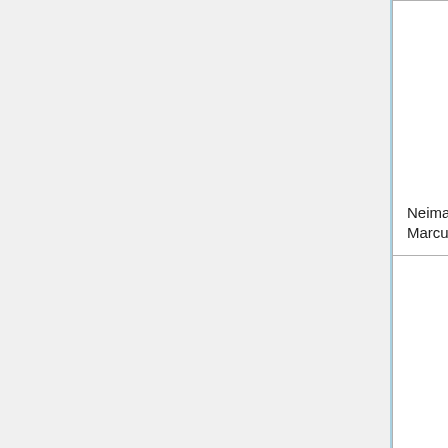| Company | Country | Date | Type |
| --- | --- | --- | --- |
| Neiman Marcus | United States | 2020-05-07 | Filed ban... |
| Avianca | Columbia | 2020-05-10 | Filed ban... |
| JCPenney | United States | 2020-... | File... |